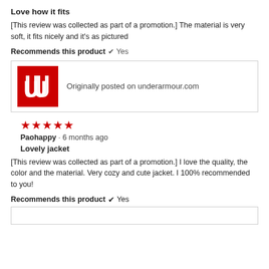Love how it fits
[This review was collected as part of a promotion.] The material is very soft, it fits nicely and it's as pictured
Recommends this product ✔ Yes
[Figure (logo): Under Armour red square logo with white UA symbol. Text: Originally posted on underarmour.com]
[Figure (infographic): Five red stars rating]
Paohappy · 6 months ago
Lovely jacket
[This review was collected as part of a promotion.] I love the quality, the color and the material. Very cozy and cute jacket. I 100% recommended to you!
Recommends this product ✔ Yes